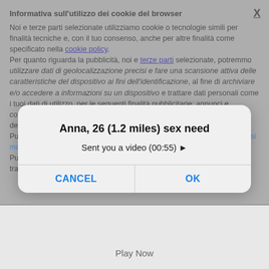Informativa sull'utilizzo dei cookie del browser
Noi e terze parti selezionate utilizziamo cookie o tecnologie simili per finalità tecniche e, con il tuo consenso, anche per altre finalità come specificato nella cookie policy. Per quanto riguarda la pubblicità, noi e terze parti selezionate, potremmo utilizzare dati di geolocalizzazione precisi e fare una scansione attiva delle caratteristiche del dispositivo ai fini dell'identificazione, al fine di archiviare e/o accedere a informazioni su un dispositivo e trattare dati personali come i tuoi dati di utilizzo, per le seguenti finalità pubblicitarie: annunci e contenuti personalizzati, valutazione di annunci e contenuti, osservazioni del pubblico e sviluppo di prodotti. Puoi liberamente prestare, rifiutare o revocare il tuo consenso, in qualsiasi momento, accedendo al pannello dalle preferenze. Puoi continuare la navigazione in assenza di cookie o altri strumenti di tracciamento diversi da quelli tecnici cliccando sullo
[Figure (screenshot): Mobile popup dialog overlay with title 'Anna, 26 (1.2 miles) sex need', subtitle 'Sent you a video (00:55) ▶', and two buttons: CANCEL and OK]
ACCETTA E CHIUDI
OPZIONI COOKIE
Play Now